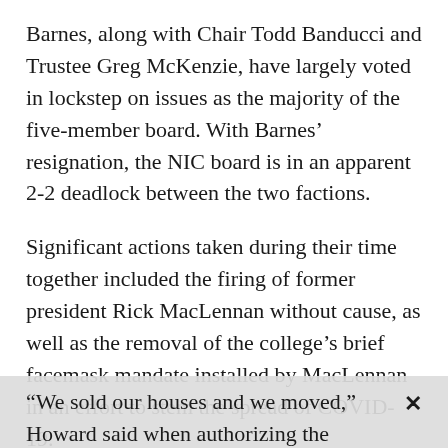Barnes, along with Chair Todd Banducci and Trustee Greg McKenzie, have largely voted in lockstep on issues as the majority of the five-member board. With Barnes' resignation, the NIC board is in an apparent 2-2 deadlock between the two factions.
Significant actions taken during their time together included the firing of former president Rick MacLennan without cause, as well as the removal of the college's brief facemask mandate installed by MacLennan in an effort to stem the spread of COVID-19.
Banducci, McKenzie, Howard and Trustee Christie Wood did not respond to requests for comment.
“We sold our houses and we moved,” Howard said when authorizing the Attorney General’s Office investigation in